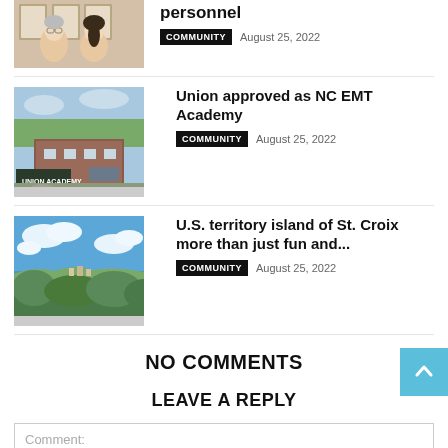[Figure (photo): Two women standing in front of framed pictures on a wall]
personnel
COMMUNITY   August 25, 2022
[Figure (photo): Sign reading Union Academy in front of a brick building]
Union approved as NC EMT Academy
COMMUNITY   August 25, 2022
[Figure (photo): Aerial coastal view of St. Croix island with blue sky]
U.S. territory island of St. Croix more than just fun and...
COMMUNITY   August 25, 2022
NO COMMENTS
LEAVE A REPLY
Comment: